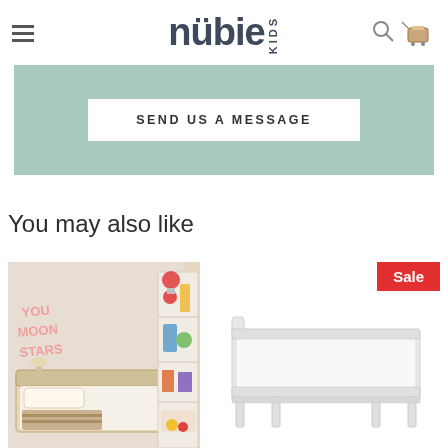nubie KIDS
SEND US A MESSAGE
You may also like
[Figure (photo): Children's bedroom with a wooden floor-level bed on the left and a tall white wooden shelving unit/bookcase with various colorful items and toys on the right]
[Figure (photo): White wooden children's bed frame with Sale badge in top right corner]